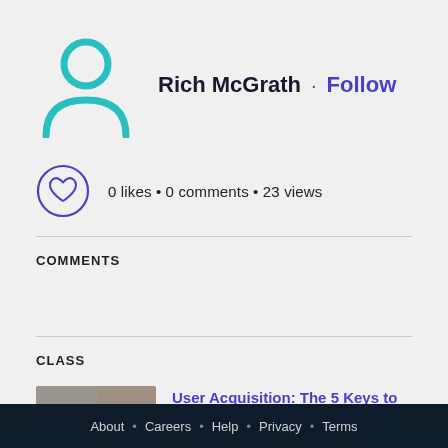[Figure (illustration): Teal/cyan avatar icon — generic person silhouette with head circle and shoulder arc outline]
Rich McGrath · Follow
0 likes • 0 comments • 23 views
COMMENTS
CLASS
[Figure (photo): Thumbnail photo showing two people seated at a table in front of a brick wall]
User Acquisition: The 5 Keys to Acquiring New Users for Free
Vinicius Vacanti
About • Careers • Help • Privacy • Terms